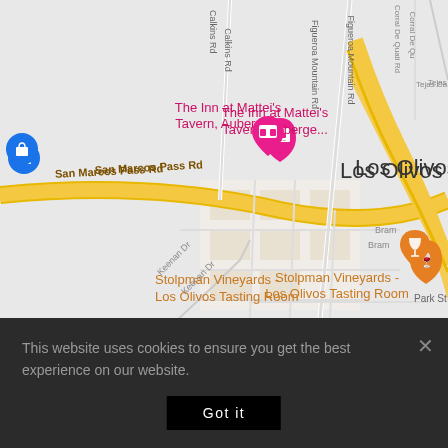[Figure (map): Google Maps screenshot showing Los Olivos area in California. Shows San Marcos Pass Rd, Figueroa Mountain Rd, Calkins Rd, Corral De Quati Rd, Keenan Dr, Park St. Landmarks include: The Inn at Mattei's Tavern Auberge (pink hotel pin), Stolpman Vineyards - Los Olivos Tasting Room (orange wine glass pin), Los Olivos Elementary School (blue graduation cap pin), The Law Office of Susan M Whalen A... (dark pin), Inland E Medical (dark pin). Shopping bag pin on the left. Main road is a yellow diagonal highway.]
This website uses cookies to ensure you get the best experience on our website.
Got it